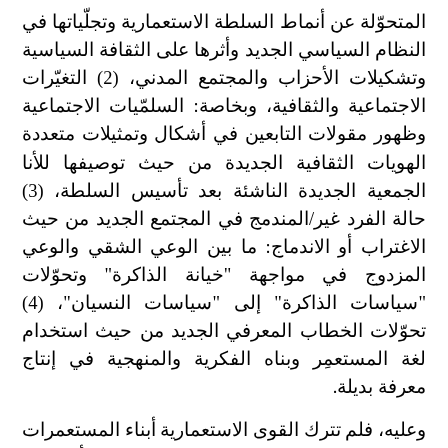المتحوّلة عن أنماط السلطة الاستعمارية وتجلّياتها في النظام السياسي الجديد وأثرها على الثقافة السياسية وتشكيلات الأحزاب والمجتمع المدني، (2) التغيّرات الاجتماعية والثقافية، وبخاصة: السلمّيات الاجتماعية وظهور مقولات التابعين في أشكال وتمثيلات متعددة الهويات الثقافية الجديدة من حيث توصيفها للأنا الجمعية الجديدة الناشئة بعد تأسيس السلطة، (3) حالة الفرد غير/المندمج في المجتمع الجديد من حيث الاغتراب أو الاندماج: ما بين الوعي الشقي والوعي المزدوج في مواجهة "خيانة الذاكرة" وتحوّلات "سياسات الذاكرة" إلى "سياسات النسيان"، (4) تحوّلات الخطاب المعرفي الجديد من حيث استخدام لغة المستعمِر وبناه الفكرية والمنهجية في إنتاج معرفة بديلة.
وعليه، فلم تترك القوى الاستعمارية أبناء المستعمرات ينجزون مشاريعهم القومية كما يحلو لهم، بل أغرقتهم في نزاعات الحروب بالوكالة في جغرافياتهم المحاصرة، ومشهديّاتهم المتحاربة. وقد كانت فلسطين: